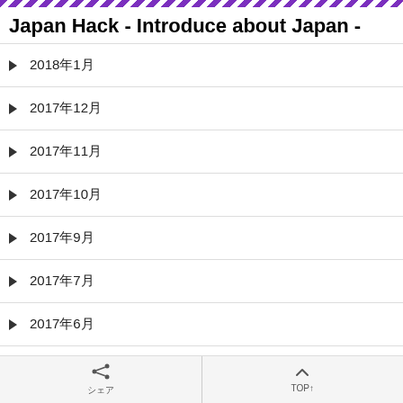Japan Hack - Introduce about Japan -
Japan Hack - Introduce about Japan -
2018年1月
2017年12月
2017年11月
2017年10月
2017年9月
2017年7月
2017年6月
2017年5月
シェア　TOP↑